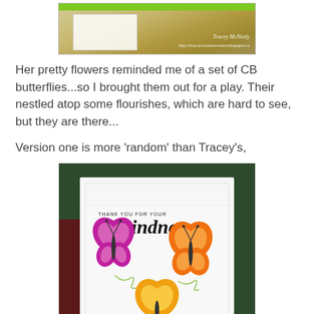[Figure (photo): Top portion of a handmade greeting card with green bar and watermark by Tracey McNeely]
Her pretty flowers reminded me of a set of CB butterflies...so I brought them out for a play.  Their nestled atop some flourishes, which are hard to see, but they are there...
Version one is more 'random' than Tracey's,
[Figure (photo): Handmade greeting card with 'THANK YOU FOR YOUR kindness' stamped text and three colorful butterfly die cuts (purple/magenta, orange, yellow-orange) on a white textured card with green flourishes, set against a dark green background]